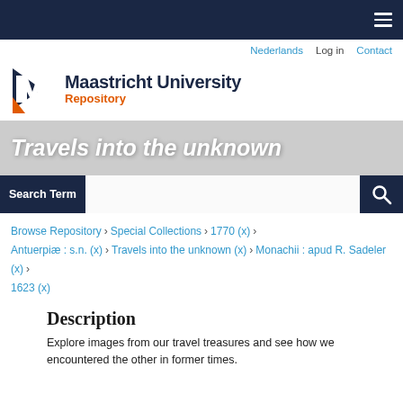Maastricht University Repository
Nederlands · Log in · Contact
[Figure (logo): Maastricht University logo with UM initials graphic]
Travels into the unknown
Search Term [search bar]
Browse Repository › Special Collections › 1770 (x) › Antuerpiæ : s.n. (x) › Travels into the unknown (x) › Monachii : apud R. Sadeler (x) › 1623 (x)
Description
Explore images from our travel treasures and see how we encountered the other in former times.